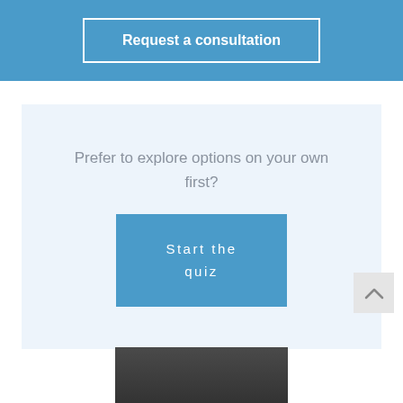Request a consultation
Prefer to explore options on your own first?
Start the quiz
[Figure (photo): Partial view of a person's face at the bottom of the page]